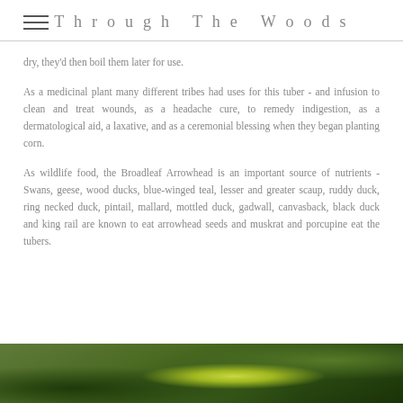Through The Woods
dry, they'd then boil them later for use.
As a medicinal plant many different tribes had uses for this tuber - and infusion to clean and treat wounds, as a headache cure, to remedy indigestion, as a dermatological aid, a laxative, and as a ceremonial blessing when they began planting corn.
As wildlife food, the Broadleaf Arrowhead is an important source of nutrients - Swans, geese, wood ducks, blue-winged teal, lesser and greater scaup, ruddy duck, ring necked duck, pintail, mallard, mottled duck, gadwall, canvasback, black duck and king rail are known to eat arrowhead seeds and muskrat and porcupine eat the tubers.
[Figure (photo): Blurred green foliage photograph, bottom strip of page]